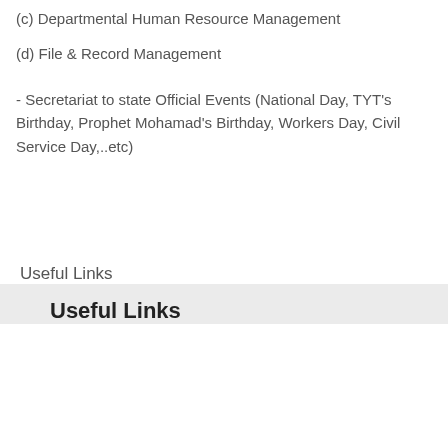(c) Departmental Human Resource Management
(d) File & Record Management
- Secretariat to state Official Events (National Day, TYT's Birthday, Prophet Mohamad's Birthday, Workers Day, Civil Service Day,..etc)
Useful Links
Useful Links